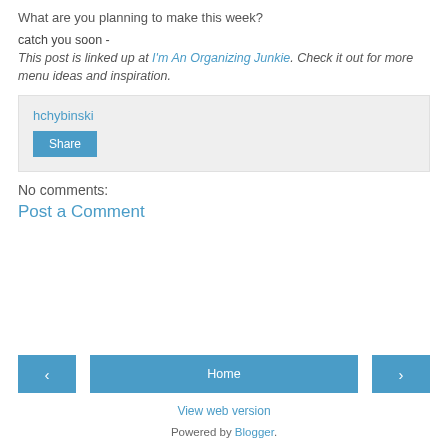What are you planning to make this week?
catch you soon -
This post is linked up at I'm An Organizing Junkie. Check it out for more menu ideas and inspiration.
hchybinski
Share
No comments:
Post a Comment
‹
Home
›
View web version
Powered by Blogger.